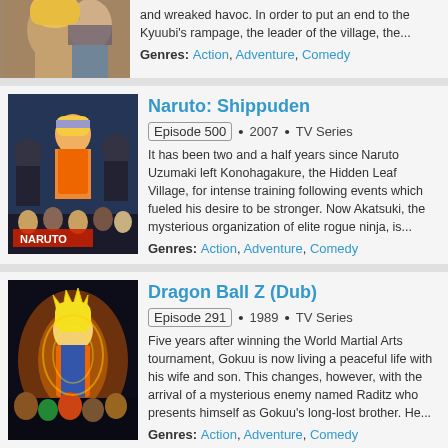[Figure (illustration): Partial top card showing anime artwork (Naruto) with genres: Action, Adventure, Comedy]
and wreaked havoc. In order to put an end to the Kyuubi's rampage, the leader of the village, the...
Genres: Action, Adventure, Comedy
[Figure (illustration): Naruto Shippuden anime poster with characters]
Naruto: Shippuden
Episode 500 • 2007 • TV Series
It has been two and a half years since Naruto Uzumaki left Konohagakure, the Hidden Leaf Village, for intense training following events which fueled his desire to be stronger. Now Akatsuki, the mysterious organization of elite rogue ninja, is...
Genres: Action, Adventure, Comedy
[Figure (illustration): Dragon Ball Z anime poster with Goku characters]
Dragon Ball Z (Dub)
Episode 291 • 1989 • TV Series
Five years after winning the World Martial Arts tournament, Gokuu is now living a peaceful life with his wife and son. This changes, however, with the arrival of a mysterious enemy named Raditz who presents himself as Gokuu's long-lost brother. He...
Genres: Action, Adventure, Comedy
[Figure (illustration): K-ON! anime poster partial]
K-ON!